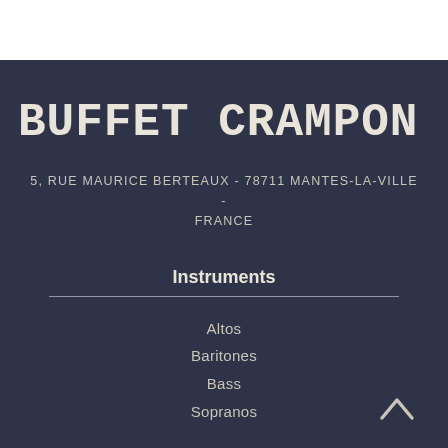BUFFET CRAMPON
5, RUE MAURICE BERTEAUX - 78711 MANTES-LA-VILLE - FRANCE
Instruments
Altos
Baritones
Bass
Sopranos